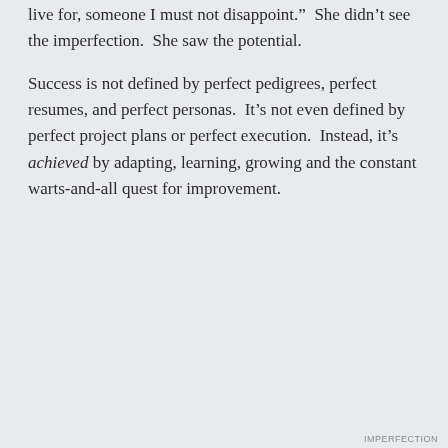be true, so sure of me, and I felt I had something to live for, someone I must not disappoint.”  She didn’t see the imperfection.  She saw the potential.
Success is not defined by perfect pedigrees, perfect resumes, and perfect personas.  It’s not even defined by perfect project plans or perfect execution.  Instead, it’s achieved by adapting, learning, growing and the constant warts-and-all quest for improvement.
Privacy & Cookies: This site uses cookies. By continuing to use this website, you agree to their use.
To find out more, including how to control cookies, see here: Cookie Policy
Close and accept